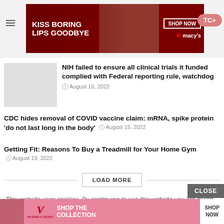[Figure (screenshot): Macy's advertisement banner: dark red background with woman's face, text 'KISS BORING LIPS GOODBYE', 'SHOP NOW' button, Macy's star logo]
NIH failed to ensure all clinical trials it funded complied with Federal reporting rule, watchdog
August 16, 2022
CDC hides removal of COVID vaccine claim: mRNA, spike protein 'do not last long in the body'  August 15, 2022
Getting Fit: Reasons To Buy a Treadmill for Your Home Gym  August 19, 2022
LOAD MORE
This website uses cookies. By continuing to use this website you are giving consent to cookies being used. Visit our Priv... Cookie
[Figure (screenshot): Victoria's Secret advertisement banner: pink background with model, VS logo, 'SHOP THE COLLECTION', 'SHOP NOW' button]